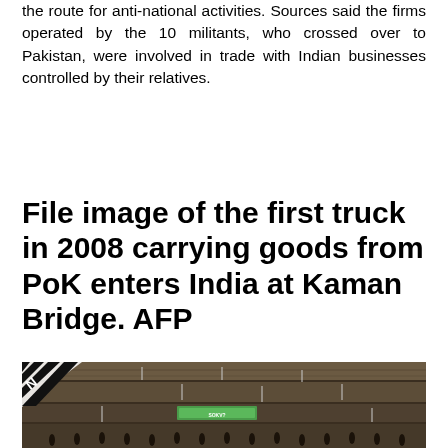the route for anti-national activities. Sources said the firms operated by the 10 militants, who crossed over to Pakistan, were involved in trade with Indian businesses controlled by their relatives.
File image of the first truck in 2008 carrying goods from PoK enters India at Kaman Bridge. AFP
[Figure (photo): Photograph of a rocky hillside with terraced levels, people standing at the bottom, a banner/sign in the middle area, and a diagonal white/black striped element in the upper left corner. This is a file image of the first truck in 2008 carrying goods from PoK entering India at Kaman Bridge.]